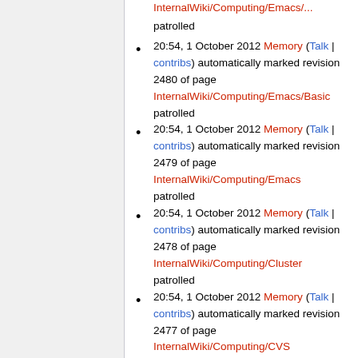InternalWiki/Computing/Emacs/... patrolled (partial, top of page)
20:54, 1 October 2012 Memory (Talk | contribs) automatically marked revision 2480 of page InternalWiki/Computing/Emacs/Basic patrolled
20:54, 1 October 2012 Memory (Talk | contribs) automatically marked revision 2479 of page InternalWiki/Computing/Emacs patrolled
20:54, 1 October 2012 Memory (Talk | contribs) automatically marked revision 2478 of page InternalWiki/Computing/Cluster patrolled
20:54, 1 October 2012 Memory (Talk | contribs) automatically marked revision 2477 of page InternalWiki/Computing/CVS (partial, bottom of page)